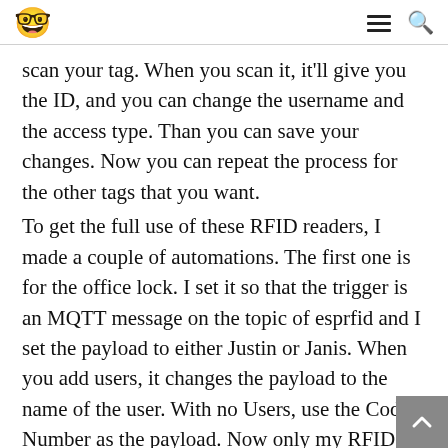🤓 ☰ 🔍
scan your tag. When you scan it, it'll give you the ID, and you can change the username and the access type. Than you can save your changes. Now you can repeat the process for the other tags that you want.
To get the full use of these RFID readers, I made a couple of automations. The first one is for the office lock. I set it so that the trigger is an MQTT message on the topic of esprfid and I set the payload to either Justin or Janis. When you add users, it changes the payload to the name of the user. With no Users, use the Code Number as the payload. Now only my RFID or my wife's RFID will open this lock. I'll also use a toggle so that my RFID...